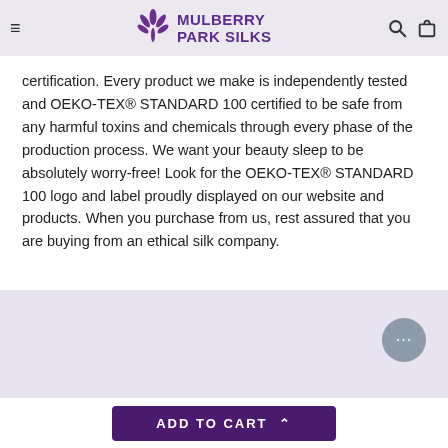Mulberry Park Silks
certification. Every product we make is independently tested and OEKO-TEX® STANDARD 100 certified to be safe from any harmful toxins and chemicals through every phase of the production process. We want your beauty sleep to be absolutely worry-free! Look for the OEKO-TEX® STANDARD 100 logo and label proudly displayed on our website and products. When you purchase from us, rest assured that you are buying from an ethical silk company.
[Figure (other): Lavender background section at the bottom of the page]
ADD TO CART